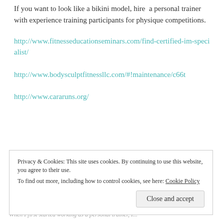If you want to look like a bikini model, hire a personal trainer with experience training participants for physique competitions.
http://www.fitnesseducationseminars.com/find-certified-im-specialist/
http://www.bodysculptfitnessllc.com/#!maintenance/c66t
http://www.cararuns.org/
Privacy & Cookies: This site uses cookies. By continuing to use this website, you agree to their use.
To find out more, including how to control cookies, see here: Cookie Policy
Close and accept
When I first started working as a personal trainer, I...